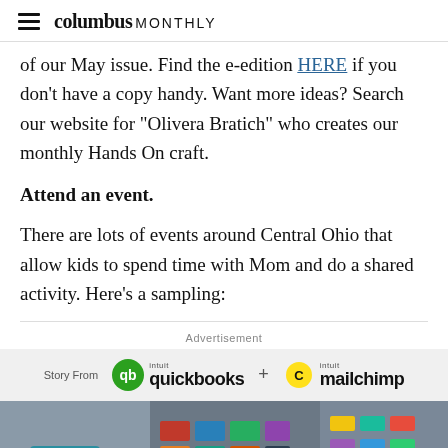columbus MONTHLY
of our May issue. Find the e-edition HERE if you don't have a copy handy. Want more ideas? Search our website for “Olivera Bratich” who creates our monthly Hands On craft.
Attend an event.
There are lots of events around Central Ohio that allow kids to spend time with Mom and do a shared activity. Here’s a sampling:
Advertisement
[Figure (logo): Story From intuit quickbooks + intuit mailchimp advertisement banner]
[Figure (photo): Photo strip showing a store with colorful folded t-shirts and merchandise on shelves]